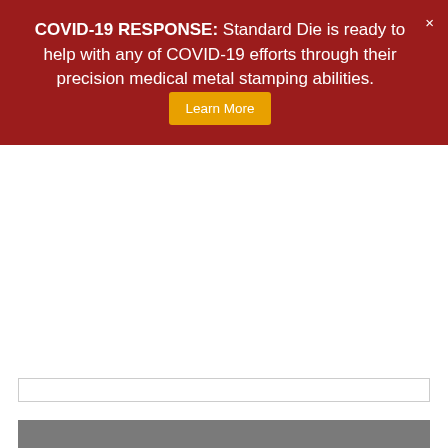COVID-19 RESPONSE: Standard Die is ready to help with any of COVID-19 efforts through their precision medical metal stamping abilities.
Learn More
[Figure (illustration): Periodic table element card for Aluminum, showing element name 'Aluminum', atomic number '13', and chemical symbol 'Al' on a grey background.]